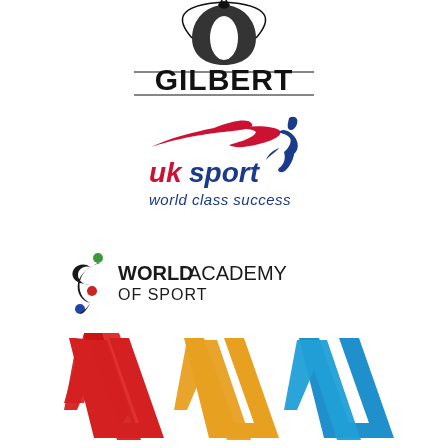[Figure (logo): Gilbert rugby ball brand logo - black stylized rugby ball icon above bold black GILBERT text with horizontal lines]
[Figure (logo): UK Sport logo - red swoosh figure and blue dynamic figure with red 'uk' text and blue 'sport' text, tagline 'world class success' in blue italic]
[Figure (logo): World Academy of Sport logo - black swirl figure with colored dots (green, red, blue) and bold black WORLD ACADEMY OF SPORT text]
[Figure (logo): Colorful logo with three V-shaped chevron elements in red, yellow/orange, and blue/cyan at the bottom of the page]